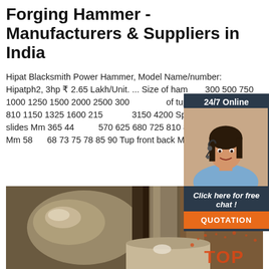Forging Hammer - Manufacturers & Suppliers in India
Hipat Blacksmith Power Hammer, Model Name/number: Hipatph2, 3hp ₹ 2.65 Lakh/Unit. ... Size of hammer 300 500 750 1000 1250 1500 2000 2500 3000 of tup Kgs. 340 550 810 1150 1325 1600 2150 3150 4200 Space between slides Mm 365 440 570 625 680 725 810 850 Stroke max. Mm 58 68 73 75 78 85 90 Tup front back Mm ...
[Figure (other): Chat widget with 24/7 Online label, woman with headset photo, 'Click here for free chat!' text, and QUOTATION button]
Get Price
[Figure (photo): Close-up photo of forging hammer metal components, showing rounded metal piece and vertical rod/die, with TOP watermark overlay]